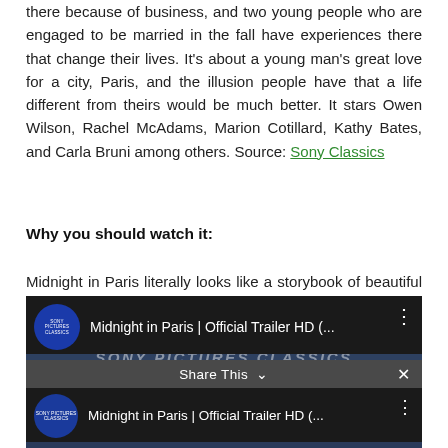there because of business, and two young people who are engaged to be married in the fall have experiences there that change their lives. It's about a young man's great love for a city, Paris, and the illusion people have that a life different from theirs would be much better. It stars Owen Wilson, Rachel McAdams, Marion Cotillard, Kathy Bates, and Carla Bruni among others. Source: Sony Classics
Why you should watch it:
Midnight in Paris literally looks like a storybook of beautiful Paris City. One of the most visited and dreamt about destinations, the movie features Paris in the 1920's and also shows us it's modern beauty.
[Figure (screenshot): Video thumbnail for 'Midnight in Paris | Official Trailer HD (...' from Sony Pictures Classics YouTube channel, with a Share This bar at the bottom.]